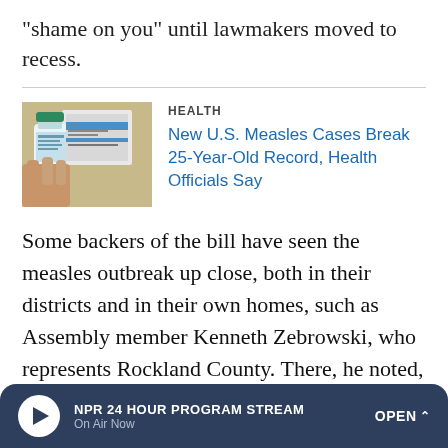"shame on you" until lawmakers moved to recess.
[Figure (photo): A hand holding a small vaccine vial with a teal/green cap, with packaging boxes in the background.]
HEALTH
New U.S. Measles Cases Break 25-Year-Old Record, Health Officials Say
Some backers of the bill have seen the measles outbreak up close, both in their districts and in their own homes, such as Assembly member Kenneth Zebrowski, who represents Rockland County. There, he noted, there have already been more than 266 confirmed measles cases, including 16 hospitalizations.
His 1-year-old daughter had to get her first vaccine shot at 6
NPR 24 HOUR PROGRAM STREAM  On Air Now  OPEN